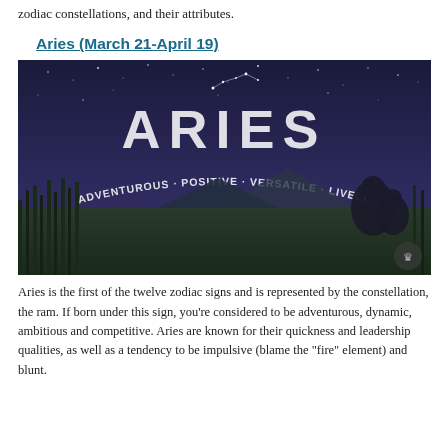zodiac constellations, and their attributes.
Aries (March 21-April 19)
[Figure (illustration): Night sky illustration showing the Aries constellation with text reading 'ARIES' in large letters and 'ADVENTUROUS · POSITIVE · VERSATILE · LIVELY' in an arc below. Two figures are silhouetted in the foreground against mountains and a starry dark blue-purple sky.]
Aries is the first of the twelve zodiac signs and is represented by the constellation, the ram. If born under this sign, you're considered to be adventurous, dynamic, ambitious and competitive. Aries are known for their quickness and leadership qualities, as well as a tendency to be impulsive (blame the "fire" element) and blunt.